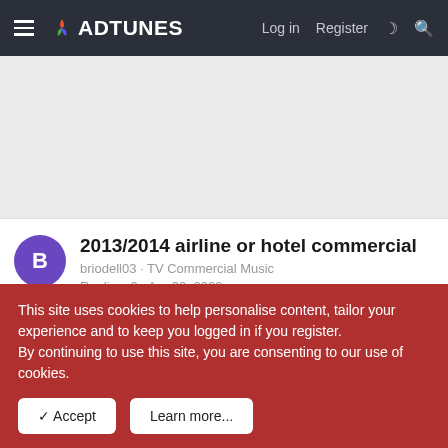ADTUNES — Log in | Register
[Figure (other): Advertisement banner placeholder area, light gray background]
2013/2014 airline or hotel commercial — briodell03 · TV Commercial Music — Replies: 2 · Apr 30, 2022
2012 Dodge Grand Caravan "Moon"
This site uses cookies to help personalise content, tailor your experience and to keep you logged in if you register. By continuing to use this site, you are consenting to our use of cookies.
✓ Accept | Learn more...